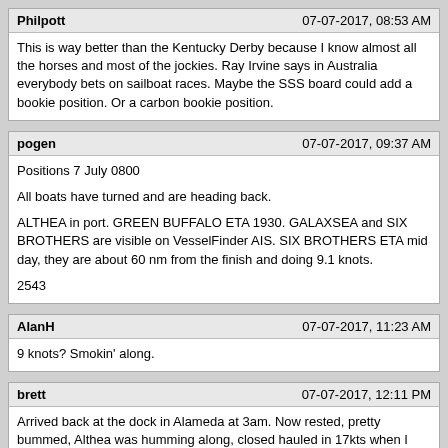Philpott | 07-07-2017, 08:53 AM
This is way better than the Kentucky Derby because I know almost all the horses and most of the jockies. Ray Irvine says in Australia everybody bets on sailboat races. Maybe the SSS board could add a bookie position. Or a carbon bookie position.
pogen | 07-07-2017, 09:37 AM
Positions 7 July 0800

All boats have turned and are heading back.

ALTHEA in port. GREEN BUFFALO ETA 1930. GALAXSEA and SIX BROTHERS are visible on VesselFinder AIS. SIX BROTHERS ETA mid day, they are about 60 nm from the finish and doing 9.1 knots.

2543
AlanH | 07-07-2017, 11:23 AM
9 knots? Smokin' along.
brett | 07-07-2017, 12:11 PM
Arrived back at the dock in Alameda at 3am. Now rested, pretty bummed, Althea was humming along, closed hauled in 17kts when I heard a loud pop. "Muddy" water started spitting from my aft starboard chain plate and I went above only to see it had been pulled up a couple inches. With two shrouds left holding the mast up on the starboard side, I tacked onto port. Weighed the decision to continue the last 75nm to 126 40 for all of 5 minutes. Did not want to chance disaster.